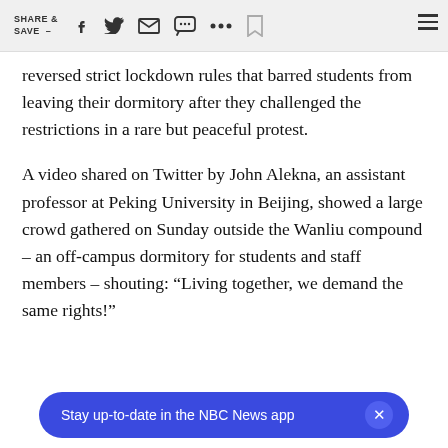SHARE & SAVE —
reversed strict lockdown rules that barred students from leaving their dormitory after they challenged the restrictions in a rare but peaceful protest.
A video shared on Twitter by John Alekna, an assistant professor at Peking University in Beijing, showed a large crowd gathered on Sunday outside the Wanliu compound – an off-campus dormitory for students and staff members – shouting: “Living together, we demand the same rights!”
Stay up-to-date in the NBC News app